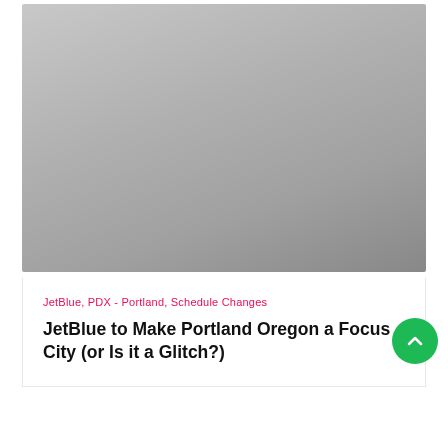[Figure (photo): Gray gradient placeholder image representing an article header photo]
JetBlue, PDX - Portland, Schedule Changes
JetBlue to Make Portland Oregon a Focus City (or Is it a Glitch?)